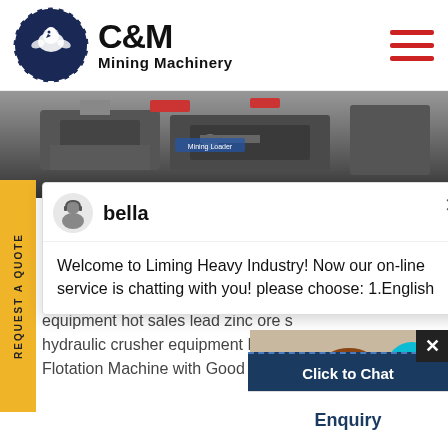[Figure (logo): C&M Mining Machinery logo with eagle/gear icon in navy blue circle and bold black C&M text with 'Mining Machinery' subtitle]
[Figure (photo): Black and white industrial machinery/equipment photo used as hero banner]
[Figure (illustration): Yellow vertical REQUEST A QUOTE side banner tab]
[Figure (screenshot): Live chat popup showing avatar of agent named 'bella' with welcome message: Welcome to Liming Heavy Industry! Now our on-line service is chatting with you! please choose: 1.English]
tation machines for co e hot sales - warilabon
sales lead zinc ore separation h equipment hot sales lead zinc ore s hydraulic crusher equipment Hot S Flotation Machine with Good Price
[Figure (photo): Customer support agent (woman with headset) photo with teal circle badge showing number 1, Click to Chat button and Enquiry section]